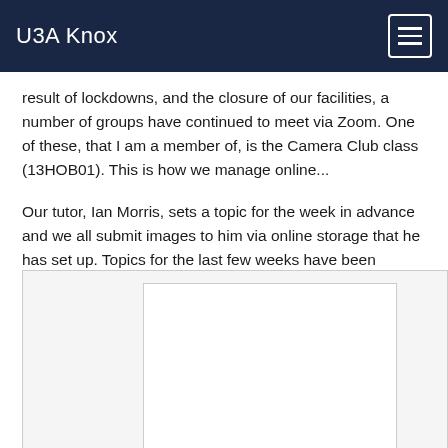U3A Knox
result of lockdowns, and the closure of our facilities, a number of groups have continued to meet via Zoom. One of these, that I am a member of, is the Camera Club class (13HOB01). This is how we manage online...
Our tutor, Ian Morris, sets a topic for the week in advance and we all submit images to him via online storage that he has set up. Topics for the last few weeks have been “Rivers & Streams”, “Transport”, “Three Colours” and “Black & White Street Photographs”.
[Figure (photo): Partially visible photograph/image at the bottom of the page, mostly white/blank area visible]